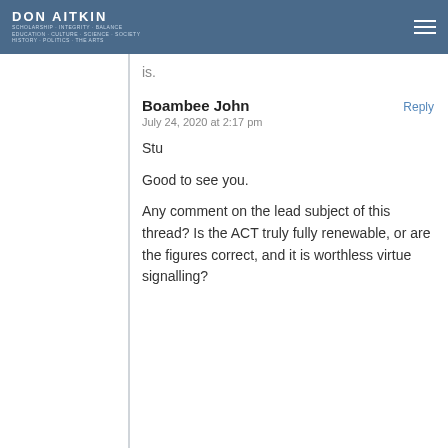DON AITKIN
is.
Boambee John
July 24, 2020 at 2:17 pm
Reply
Stu
Good to see you.
Any comment on the lead subject of this thread? Is the ACT truly fully renewable, or are the figures correct, and it is worthless virtue signalling?